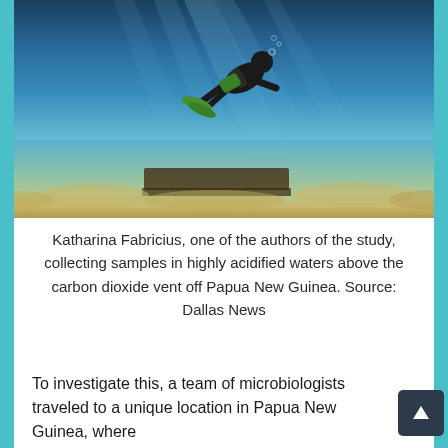[Figure (photo): Underwater photograph of a scuba diver swimming above a carbon dioxide vent on the seafloor, with dramatic light rays filtering through blue water and sandy/rocky bottom visible below.]
Katharina Fabricius, one of the authors of the study, collecting samples in highly acidified waters above the carbon dioxide vent off Papua New Guinea. Source: Dallas News
To investigate this, a team of microbiologists traveled to a unique location in Papua New Guinea, where